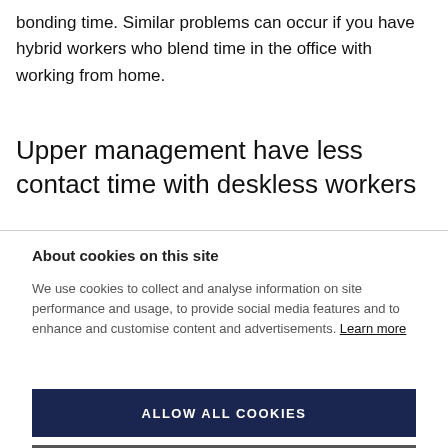bonding time. Similar problems can occur if you have hybrid workers who blend time in the office with working from home.
Upper management have less contact time with deskless workers
About cookies on this site
We use cookies to collect and analyse information on site performance and usage, to provide social media features and to enhance and customise content and advertisements. Learn more
ALLOW ALL COOKIES
COOKIE SETTINGS